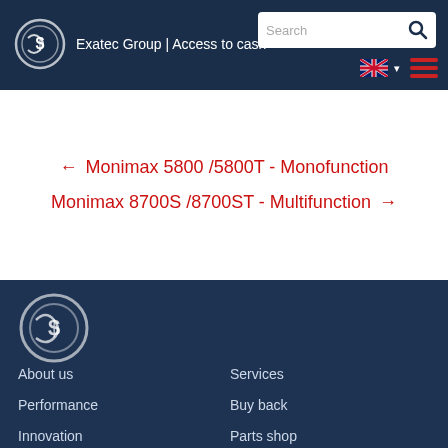Exatec Group | Access to cash
← Monimax 5800 /5800T - Monofunction
Monimax 8700S /8700ST - Multifunction →
About us  Services  Performance  Buy back  Innovation  Parts shop  Durability  Blog